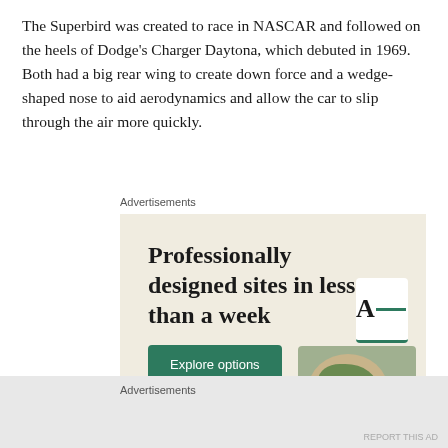The Superbird was created to race in NASCAR and followed on the heels of Dodge’s Charger Daytona, which debuted in 1969. Both had a big rear wing to create down force and a wedge-shaped nose to aid aerodynamics and allow the car to slip through the air more quickly.
Advertisements
[Figure (screenshot): Advertisement banner with beige background showing 'Professionally designed sites in less than a week' headline, green 'Explore options' button, and mockup of website builder interface with food photography and letter A logo card.]
Advertisements